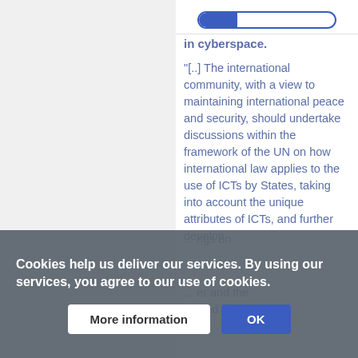[Figure (other): Progress bar showing partial completion, blue fill on left side within a white rounded rectangle with blue border]
in cyberspace.
"[..] The international community, with a view to maintaining international peace and security, should undertake discussions within the framework of the UN on how international law applies to the use of ICTs by States, taking into account the unique attributes of ICTs, and further develop
... ngs on
... er and the
... ined in it
Cookies help us deliver our services. By using our services, you agree to our use of cookies.
More information
OK